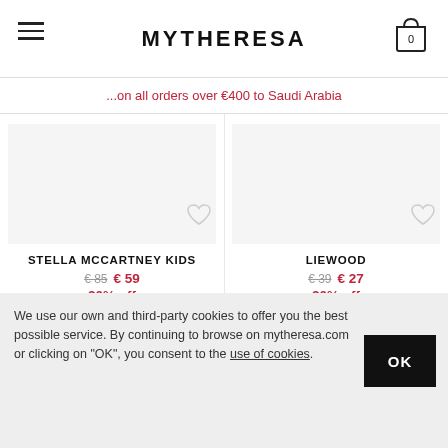MYTHERESA
...on all orders over €400 to Saudi Arabia
STELLA MCCARTNEY KIDS
€ 85 € 59
30% off
LIEWOOD
€ 39 € 27
30% off
We use our own and third-party cookies to offer you the best possible service. By continuing to browse on mytheresa.com or clicking on "OK", you consent to the use of cookies.